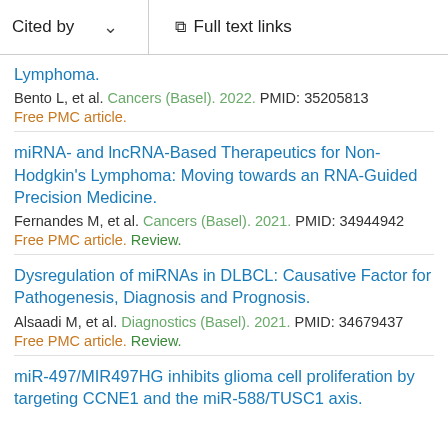Cited by   Full text links
Lymphoma.
Bento L, et al. Cancers (Basel). 2022. PMID: 35205813
Free PMC article.
miRNA- and lncRNA-Based Therapeutics for Non-Hodgkin's Lymphoma: Moving towards an RNA-Guided Precision Medicine.
Fernandes M, et al. Cancers (Basel). 2021. PMID: 34944942
Free PMC article. Review.
Dysregulation of miRNAs in DLBCL: Causative Factor for Pathogenesis, Diagnosis and Prognosis.
Alsaadi M, et al. Diagnostics (Basel). 2021. PMID: 34679437
Free PMC article. Review.
miR-497/MIR497HG inhibits glioma cell proliferation by targeting CCNE1 and the miR-588/TUSC1 axis.